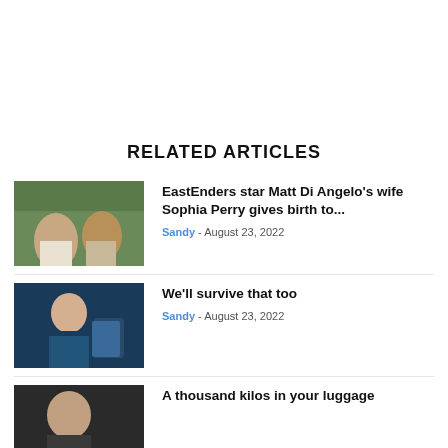RELATED ARTICLES
[Figure (photo): A couple outdoors, woman in white dress and man in suit]
EastEnders star Matt Di Angelo's wife Sophia Perry gives birth to...
Sandy - August 23, 2022
[Figure (photo): A bald man in a dark patterned shirt gesturing with hand]
We'll survive that too
Sandy - August 23, 2022
[Figure (photo): Partial image of a person, cut off at bottom of page]
A thousand kilos in your luggage